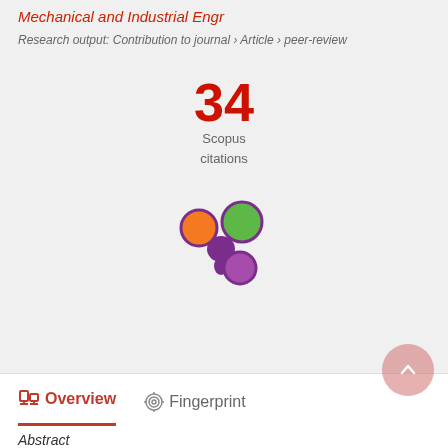Mechanical and Industrial Engr
Research output: Contribution to journal › Article › peer-review
[Figure (infographic): Large red number 34 with 'Scopus citations' label below]
[Figure (logo): Altmetric logo: purple star-burst with orange, green, and purple colored circles]
Overview   Fingerprint
Abstract